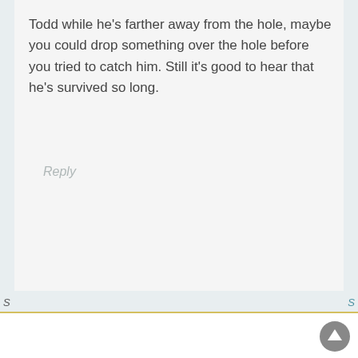Todd while he's farther away from the hole, maybe you could drop something over the hole before you tried to catch him. Still it's good to hear that he's survived so long.
Reply